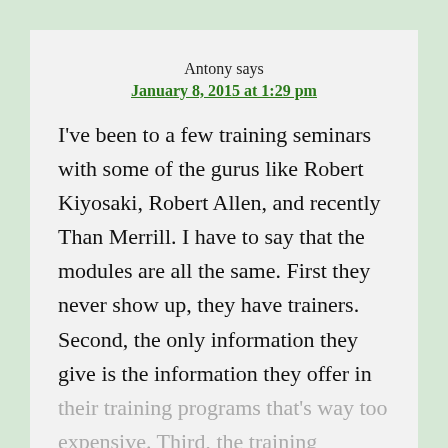Antony says
January 8, 2015 at 1:29 pm
I've been to a few training seminars with some of the gurus like Robert Kiyosaki, Robert Allen, and recently Than Merrill. I have to say that the modules are all the same. First they never show up, they have trainers. Second, the only information they give is the information they offer in their training programs that's way too expensive. Third, the training